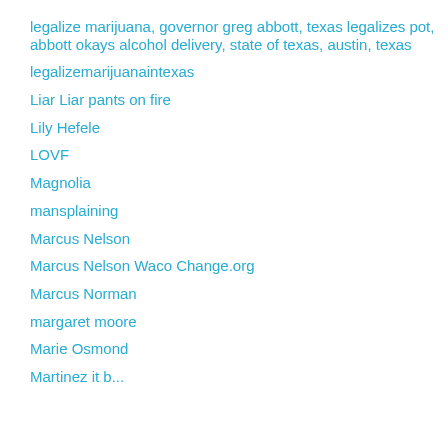legalize marijuana, governor greg abbott, texas legalizes pot, abbott okays alcohol delivery, state of texas, austin, texas
legalizemarijuanaintexas
Liar Liar pants on fire
Lily Hefele
LOVF
Magnolia
mansplaining
Marcus Nelson
Marcus Nelson Waco Change.org
Marcus Norman
margaret moore
Marie Osmond
Martinez it b...